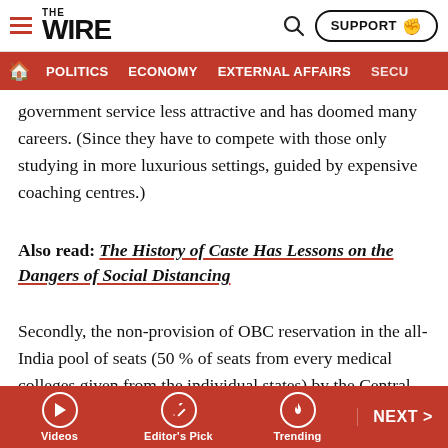THE WIRE — Navigation bar with POLITICS, ECONOMY, EXTERNAL AFFAIRS, SECU...
government service less attractive and has doomed many careers. (Since they have to compete with those only studying in more luxurious settings, guided by expensive coaching centres.)
Also read: The History of Caste Has Lessons on the Dangers of Social Distancing
Secondly, the non-provision of OBC reservation in the all-India pool of seats (50 % of seats from every medical colleges given from the individual states) by the Central health ministry for the past nine years has led to the loss of postgraduation opportunities for nearly 2,500 OBC medical undergraduates every year throughout India.
Videos | Editor's Pick | Trending | NEXT >